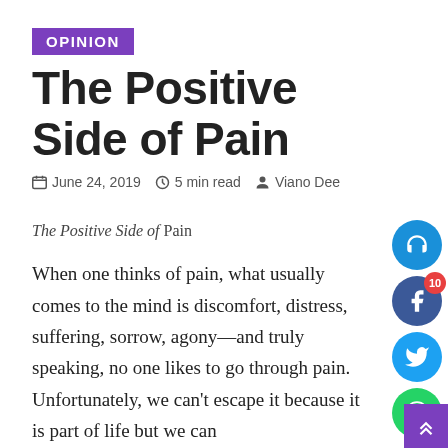OPINION
The Positive Side of Pain
June 24, 2019  5 min read  Viano Dee
The Positive Side of Pain
When one thinks of pain, what usually comes to the mind is discomfort, distress, suffering, sorrow, agony—and truly speaking, no one likes to go through pain. Unfortunately, we can't escape it because it is part of life but we can